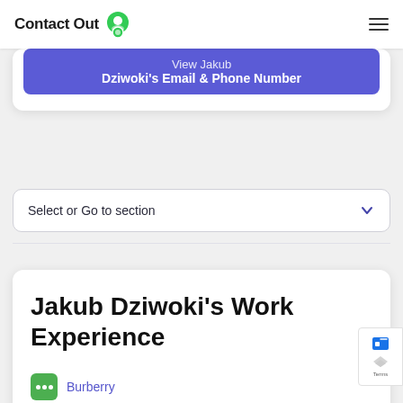ContactOut
View Jakub Dziwoki's Email & Phone Number
Select or Go to section
Jakub Dziwoki's Work Experience
Burberry